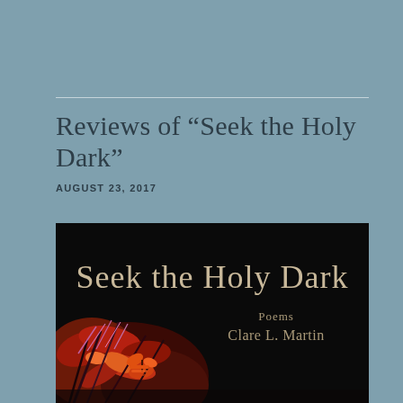Reviews of “Seek the Holy Dark”
August 23, 2017
[Figure (photo): Book cover of 'Seek the Holy Dark' — black background with large serif title text 'Seek the Holy Dark', subtitle 'Poems' and author 'Clare L. Martin', with a colorful close-up photograph of flowers in the lower left corner.]